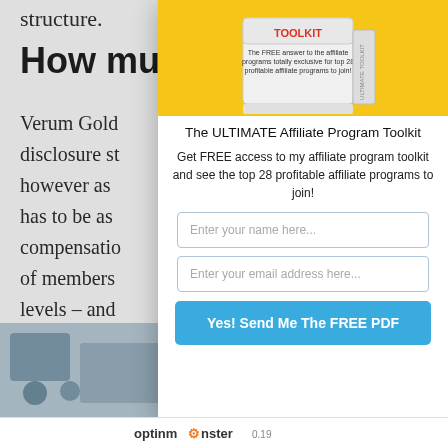structure.
How mu
Verum Gold disclosure st however as has to be as compensatio of members levels – and very low (us
[Figure (photo): The ULTIMATE Affiliate Program Toolkit book/box product image on yellow background]
The ULTIMATE Affiliate Program Toolkit
Get FREE access to my affiliate program toolkit and see the top 28 profitable affiliate programs to join!
Enter your name here...
Enter your email address here...
Yes! Send Me The FREE PDF
No compatible source was found for this media.
optinmonster